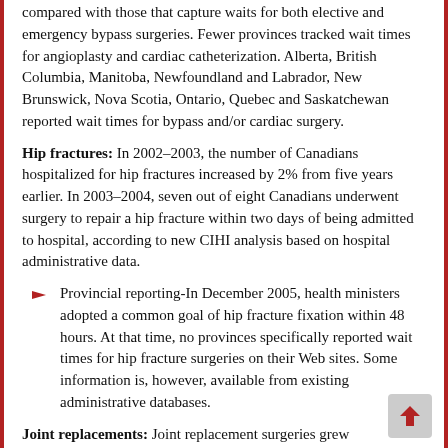compared with those that capture waits for both elective and emergency bypass surgeries. Fewer provinces tracked wait times for angioplasty and cardiac catheterization. Alberta, British Columbia, Manitoba, Newfoundland and Labrador, New Brunswick, Nova Scotia, Ontario, Quebec and Saskatchewan reported wait times for bypass and/or cardiac surgery.
Hip fractures: In 2002–2003, the number of Canadians hospitalized for hip fractures increased by 2% from five years earlier. In 2003–2004, seven out of eight Canadians underwent surgery to repair a hip fracture within two days of being admitted to hospital, according to new CIHI analysis based on hospital administrative data.
Provincial reporting-In December 2005, health ministers adopted a common goal of hip fracture fixation within 48 hours. At that time, no provinces specifically reported wait times for hip fracture surgeries on their Web sites. Some information is, however, available from existing administrative databases.
Joint replacements: Joint replacement surgeries grew significantly in the five years leading up to 2002-2003. Together, knee and hip replacement surgeries increased 30%, amounting to 11,340 more surgeries over this period. According to the Canadian Joint Replacement Registry, waits for a knee replacement are longer than for a hip replacement, with half of all patients undergoing surgery within seven months for knees and four-and-a-half months for hips.